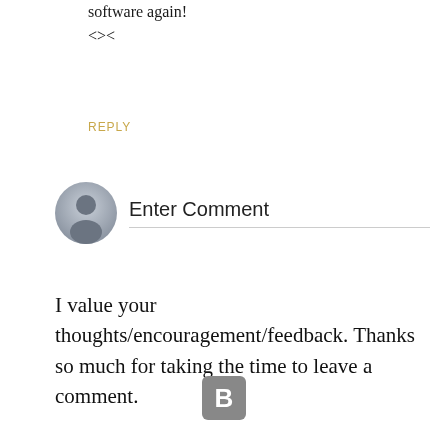software again!
<><
REPLY
Enter Comment
I value your thoughts/encouragement/feedback. Thanks so much for taking the time to leave a comment.
[Figure (logo): Blogger 'B' logo — white letter B on a grey rounded-square background]